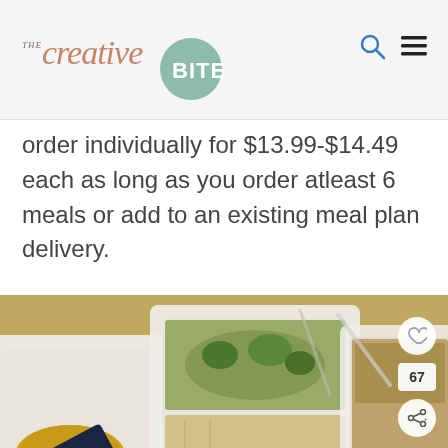THE creative BITE
order individually for $13.99-$14.49 each as long as you order atleast 6 meals or add to an existing meal plan delivery.
[Figure (photo): Overhead photo of Fresh N Lean meal prep containers filled with cooked food including broccoli, grains, and other ingredients. Brand label visible on one container.]
SHE CAN STEM